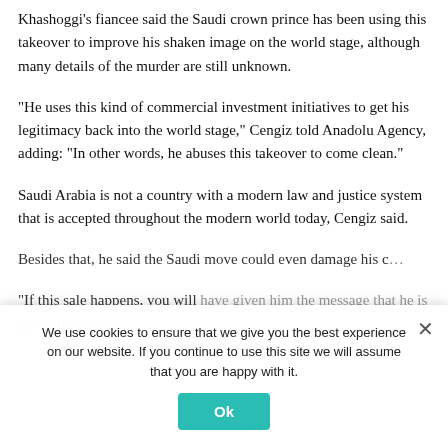Khashoggi's fiancee said the Saudi crown prince has been using this takeover to improve his shaken image on the world stage, although many details of the murder are still unknown.
“He uses this kind of commercial investment initiatives to get his legitimacy back into the world stage,” Cengiz told Anadolu Agency, adding: “In other words, he abuses this takeover to come clean.”
Saudi Arabia is not a country with a modern law and justice system that is accepted throughout the modern world today, Cengiz said.
Besides that, he said the Saudi move could even damage his c...
“If this sale happens, you will have given him the message that he is above the law in...
We use cookies to ensure that we give you the best experience on our website. If you continue to use this site we will assume that you are happy with it.